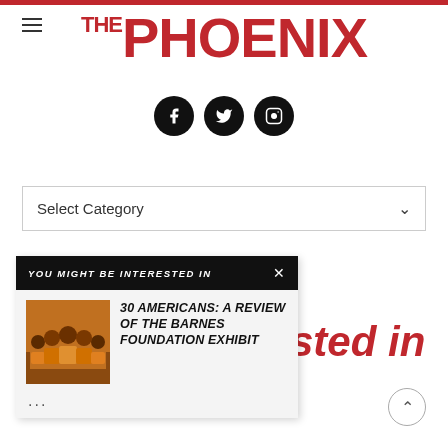THE PHOENIX
[Figure (logo): The Phoenix newspaper logo with red text, hamburger menu icon, and social media icons (Facebook, Twitter, Instagram)]
Select Category
[Figure (screenshot): Popup overlay: YOU MIGHT BE INTERESTED IN with article titled '30 AMERICANS: A REVIEW OF THE BARNES FOUNDATION EXHIBIT' with thumbnail image of group of people in orange]
sted in